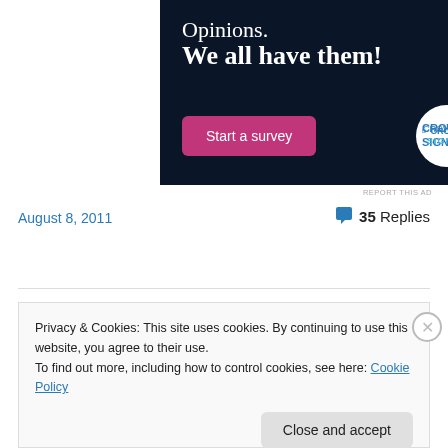[Figure (illustration): Advertisement banner for CrowdSignal survey tool on dark navy background. Shows text 'Opinions. We all have them!' with a pink 'Start a survey' button and CrowdSignal logo circle.]
REPORT THIS AD
August 8, 2011
35 Replies
Privacy & Cookies: This site uses cookies. By continuing to use this website, you agree to their use.
To find out more, including how to control cookies, see here: Cookie Policy
Close and accept